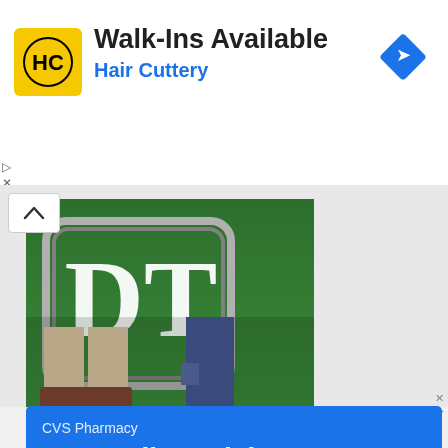[Figure (screenshot): Hair Cuttery ad banner with HC logo, 'Walk-Ins Available' text, blue navigation diamond icon, and X/close symbols]
[Figure (photo): DT (Destination XL) logo on green background with people's legs visible]
[Figure (screenshot): CVS Pharmacy blue ad: 'Buy Online, Pick Up In-Store. CVS Has Everything You Need To Get Back To Your Fall Routine']